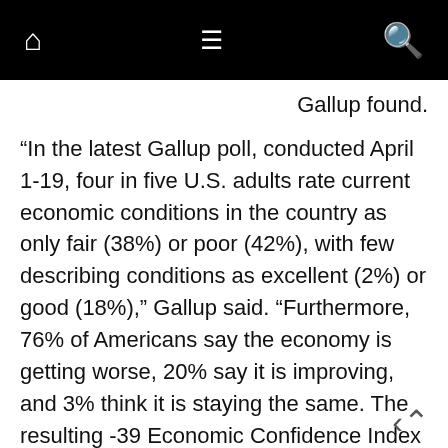Navigation bar with home, menu, and search icons
Gallup found.
“In the latest Gallup poll, conducted April 1-19, four in five U.S. adults rate current economic conditions in the country as only fair (38%) or poor (42%), with few describing conditions as excellent (2%) or good (18%),” Gallup said. “Furthermore, 76% of Americans say the economy is getting worse, 20% say it is improving, and 3% think it is staying the same. The resulting -39 Economic Confidence Index reading is identical to last month but well above the record low of -72 in October 2008, during the Great Recession. The ECI has been in negative territory since July 2021 as Americans have watched the inflation rate climb to its highest levels since 1981